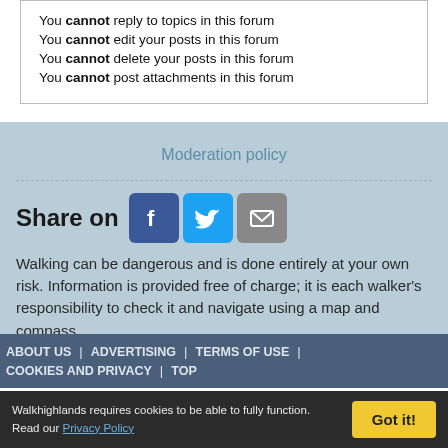You cannot reply to topics in this forum
You cannot edit your posts in this forum
You cannot delete your posts in this forum
You cannot post attachments in this forum
Moderation policy
Share on
Walking can be dangerous and is done entirely at your own risk. Information is provided free of charge; it is each walker's responsibility to check it and navigate using a map and compass.
ABOUT US | ADVERTISING | TERMS OF USE | COOKIES AND PRIVACY | TOP
Walkhighlands requires cookies to be able to fully function. Read our Privacy Policy